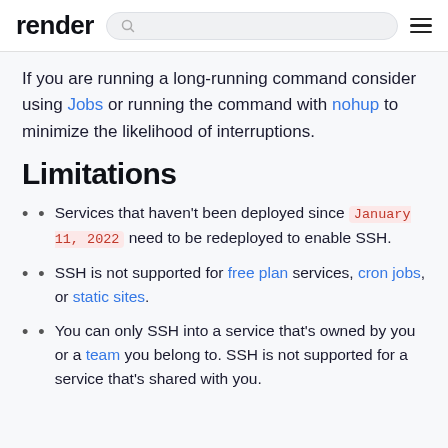render [search bar] [menu]
If you are running a long-running command consider using Jobs or running the command with nohup to minimize the likelihood of interruptions.
Limitations
Services that haven't been deployed since January 11, 2022 need to be redeployed to enable SSH.
SSH is not supported for free plan services, cron jobs, or static sites.
You can only SSH into a service that's owned by you or a team you belong to. SSH is not supported for a service that's shared with you.